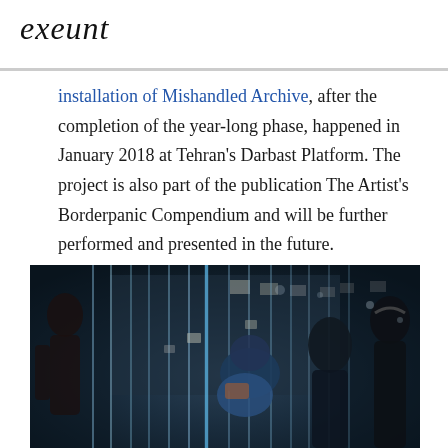exeunt
installation of Mishandled Archive, after the completion of the year-long phase, happened in January 2018 at Tehran's Darbast Platform. The project is also part of the publication The Artist's Borderpanic Compendium and will be further performed and presented in the future.
[Figure (photo): Dark interior photograph of an art installation showing vertical hanging rods/elements with silhouettes of visitors viewing the Mishandled Archive installation at Darbast Platform, Tehran.]